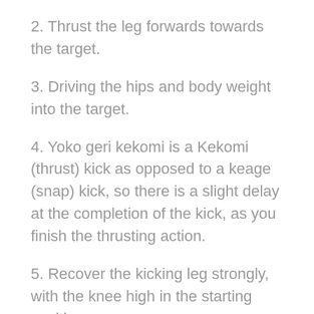2. Thrust the leg forwards towards the target.
3. Driving the hips and body weight into the target.
4. Yoko geri kekomi is a Kekomi (thrust) kick as opposed to a keage (snap) kick, so there is a slight delay at the completion of the kick, as you finish the thrusting action.
5. Recover the kicking leg strongly, with the knee high in the starting position.
6. Then step back down into heiko dachi (natural stance).